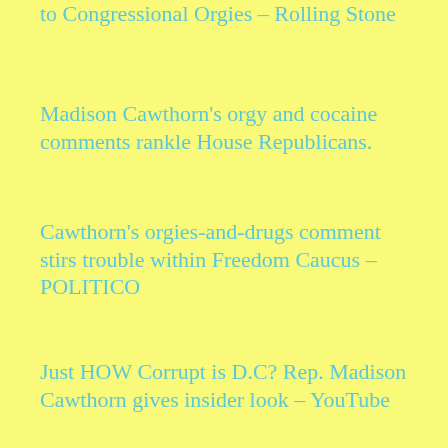to Congressional Orgies – Rolling Stone
Madison Cawthorn's orgy and cocaine comments rankle House Republicans.
Cawthorn's orgies-and-drugs comment stirs trouble within Freedom Caucus – POLITICO
Just HOW Corrupt is D.C? Rep. Madison Cawthorn gives insider look – YouTube
Kevin McCarthy to speak to Madison Cawthorn over orgy remarks